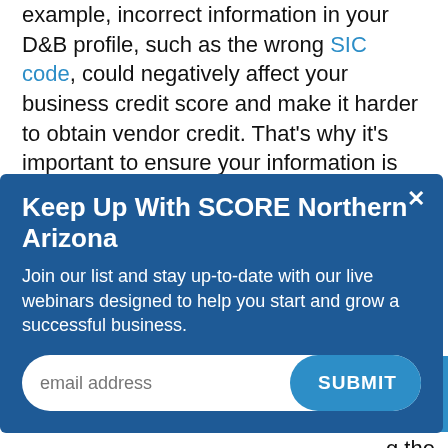example, incorrect information in your D&B profile, such as the wrong SIC code, could negatively affect your business credit score and make it harder to obtain vendor credit. That's why it's important to ensure your information is current.
[Figure (other): Modal popup for 'Keep Up With SCORE Northern Arizona' with email signup form. Includes close button (×), title, descriptive text, email input field, and SUBMIT button.]
business credit monitoring services that alert you to changes in your credit report and score.